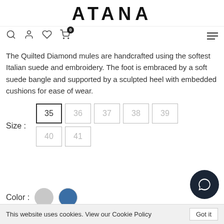ATANA
[Figure (screenshot): Navigation bar with search, user, wishlist, cart (badge 0), and hamburger menu icons]
The Quilted Diamond mules are handcrafted using the softest Italian suede and embroidery. The foot is embraced by a soft suede bangle and supported by a sculpted heel with embedded cushions for ease of wear.
Size : 35 36 37 38 39 40 41
Color :
This website uses cookies. View our Cookie Policy   Got it